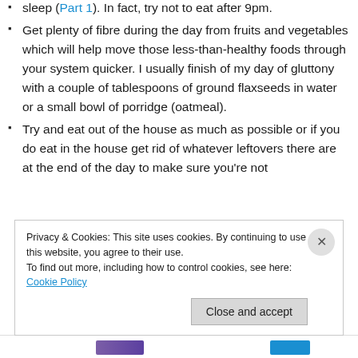sleep (Part 1). In fact, try not to eat after 9pm.
Get plenty of fibre during the day from fruits and vegetables which will help move those less-than-healthy foods through your system quicker. I usually finish of my day of gluttony with a couple of tablespoons of ground flaxseeds in water or a small bowl of porridge (oatmeal).
Try and eat out of the house as much as possible or if you do eat in the house get rid of whatever leftovers there are at the end of the day to make sure you're not
Privacy & Cookies: This site uses cookies. By continuing to use this website, you agree to their use. To find out more, including how to control cookies, see here: Cookie Policy